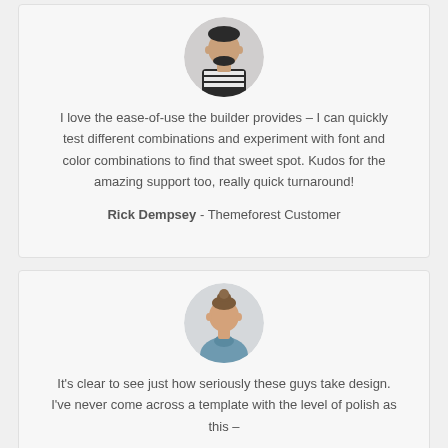[Figure (photo): Circular avatar photo of a bearded man wearing a striped shirt]
I love the ease-of-use the builder provides – I can quickly test different combinations and experiment with font and color combinations to find that sweet spot. Kudos for the amazing support too, really quick turnaround!
Rick Dempsey - Themeforest Customer
[Figure (photo): Circular avatar photo of a young woman with hair up wearing a blue top]
It's clear to see just how seriously these guys take design. I've never come across a template with the level of polish as this –